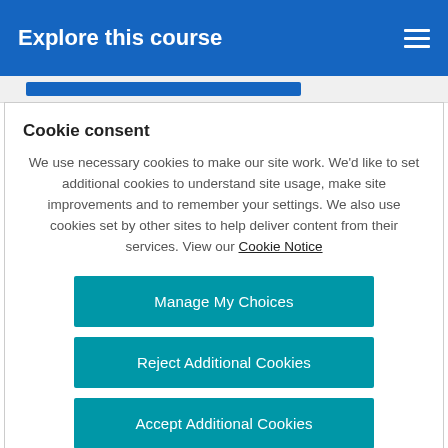Explore this course
Cookie consent
We use necessary cookies to make our site work. We'd like to set additional cookies to understand site usage, make site improvements and to remember your settings. We also use cookies set by other sites to help deliver content from their services. View our Cookie Notice
Manage My Choices
Reject Additional Cookies
Accept Additional Cookies